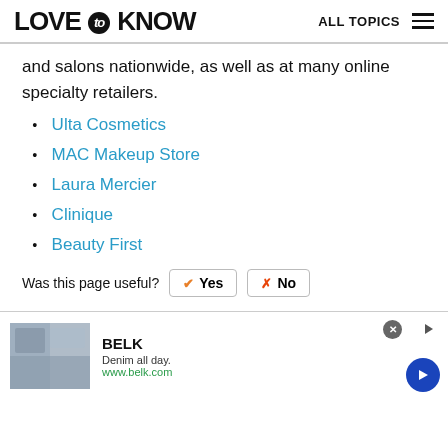LOVE to KNOW   ALL TOPICS
and salons nationwide, as well as at many online specialty retailers.
Ulta Cosmetics
MAC Makeup Store
Laura Mercier
Clinique
Beauty First
Was this page useful?  ✔ Yes  ✗ No
[Figure (screenshot): Advertisement banner for BELK: 'Denim all day. www.belk.com' with close button and navigation arrow]